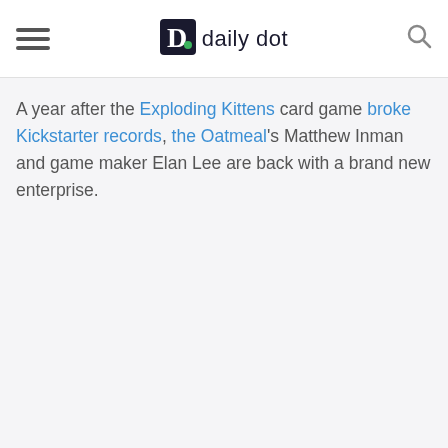Daily Dot
A year after the Exploding Kittens card game broke Kickstarter records, the Oatmeal's Matthew Inman and game maker Elan Lee are back with a brand new enterprise.